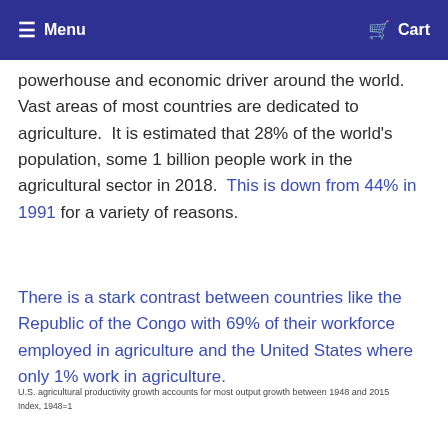Menu   Cart
powerhouse and economic driver around the world.  Vast areas of most countries are dedicated to agriculture.  It is estimated that 28% of the world's population, some 1 billion people work in the agricultural sector in 2018.  This is down from 44% in 1991 for a variety of reasons.
There is a stark contrast between countries like the Republic of the Congo with 69% of their workforce employed in agriculture and the United States where only 1% work in agriculture.
[Figure (other): Partial view of a chart titled 'U.S. agricultural productivity growth accounts for most output growth between 1948 and 2015' with subtitle 'Index, 1948=1']